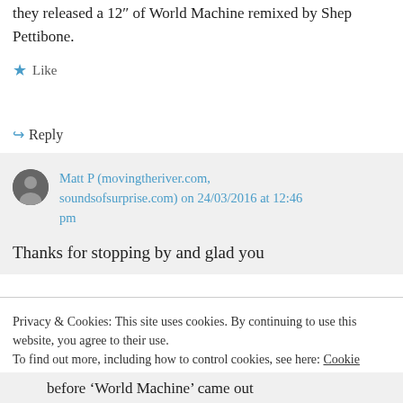they released a 12" of World Machine remixed by Shep Pettibone.
★ Like
↪ Reply
Matt P (movingtheriver.com, soundsofsurprise.com) on 24/03/2016 at 12:46 pm
Thanks for stopping by and glad you
Privacy & Cookies: This site uses cookies. By continuing to use this website, you agree to their use. To find out more, including how to control cookies, see here: Cookie Policy
Close and accept
before 'World Machine' came out